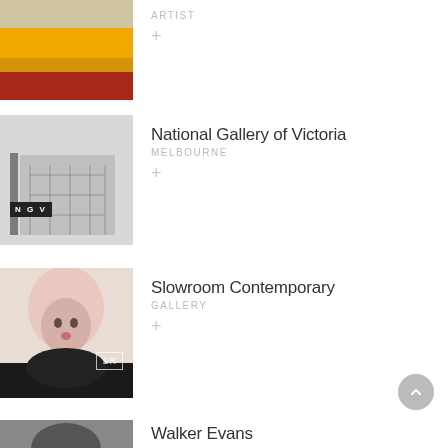[Figure (photo): Abstract painting with tan/cream top band, yellow-orange middle bands, and dark red bottom band]
ARTIST
+
[Figure (photo): Exterior photograph of National Gallery of Victoria building facade with NGV logo badge]
National Gallery of Victoria
MELBOURNE
+
[Figure (photo): Portrait painting of a figure with pale pink hat/headwear, with SR badge overlay]
Slowroom Contemporary
GALLERY
+
[Figure (photo): Partial photo at bottom of page — Walker Evans entry cut off]
Walker Evans